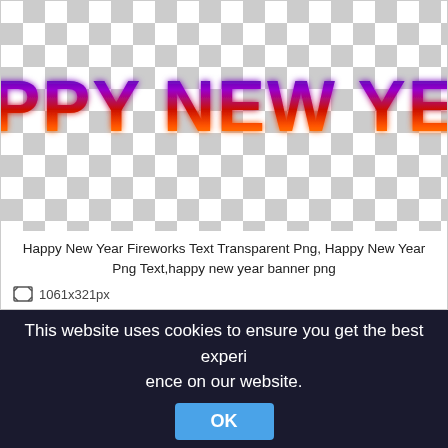[Figure (illustration): Happy New Year text with fireworks effect on a transparent (checkerboard) background. The text reads HAPPY NEW YEAR in large bold letters with a galaxy/fireworks gradient from dark blue/purple at top to red/orange at the bottom.]
Happy New Year Fireworks Text Transparent Png, Happy New Year Png Text,happy new year banner png
1061x321px
This website uses cookies to ensure you get the best experience on our website.